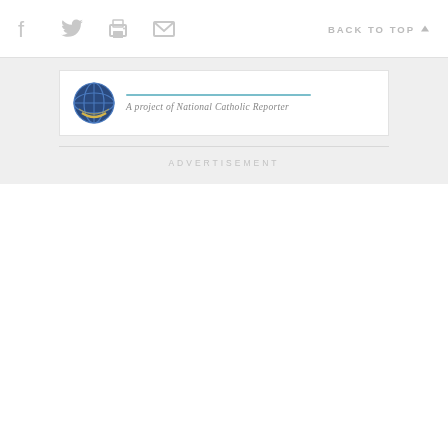Share icons and BACK TO TOP navigation bar
[Figure (logo): Globe/world logo icon for a National Catholic Reporter project, circular emblem in blue and yellow]
A project of National Catholic Reporter
ADVERTISEMENT